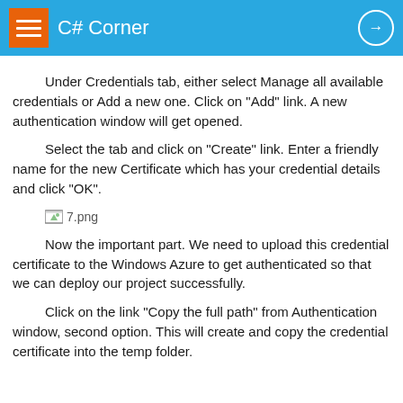C# Corner
Under Credentials tab, either select Manage all available credentials or Add a new one. Click on "Add" link. A new authentication window will get opened.
Select the tab and click on "Create" link. Enter a friendly name for the new Certificate which has your credential details and click "OK".
[Figure (screenshot): Screenshot placeholder labeled 7.png]
Now the important part. We need to upload this credential certificate to the Windows Azure to get authenticated so that we can deploy our project successfully.
Click on the link "Copy the full path" from Authentication window, second option. This will create and copy the credential certificate into the temp folder.